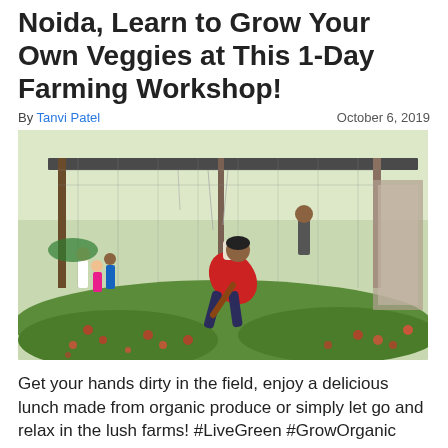Noida, Learn to Grow Your Own Veggies at This 1-Day Farming Workshop!
By Tanvi Patel    October 6, 2019
[Figure (photo): A person bending over to tend to plants in a garden/farm area with a mesh/cage structure overhead. Children visible in the background. Red flowers and green plants in the foreground.]
Get your hands dirty in the field, enjoy a delicious lunch made from organic produce or simply let go and relax in the lush farms! #LiveGreen #GrowOrganic